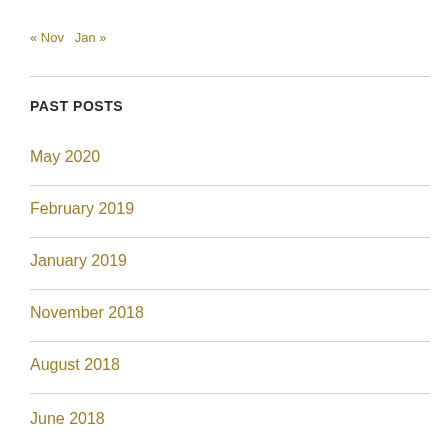« Nov   Jan »
PAST POSTS
May 2020
February 2019
January 2019
November 2018
August 2018
June 2018